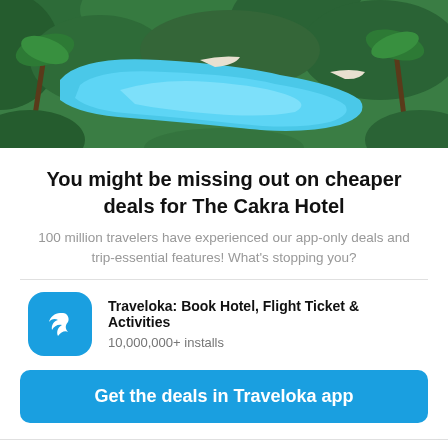[Figure (photo): Aerial view of a resort swimming pool surrounded by tropical greenery and palm trees]
You might be missing out on cheaper deals for The Cakra Hotel
100 million travelers have experienced our app-only deals and trip-essential features! What's stopping you?
Traveloka: Book Hotel, Flight Ticket & Activities
10,000,000+ installs
Get the deals in Traveloka app
All ✓
Staycation